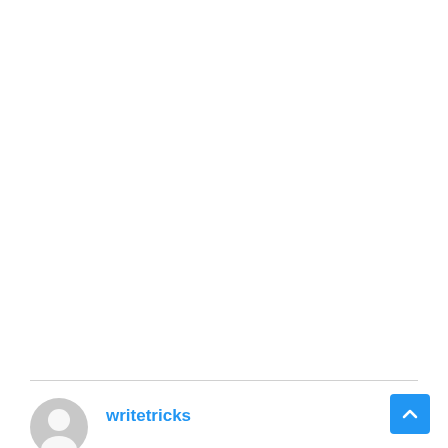[Figure (illustration): White empty content area at top of page]
writetricks
[Figure (illustration): Round user avatar placeholder icon in light gray]
[Figure (illustration): Blue scroll-to-top button with upward chevron arrow in bottom right corner]